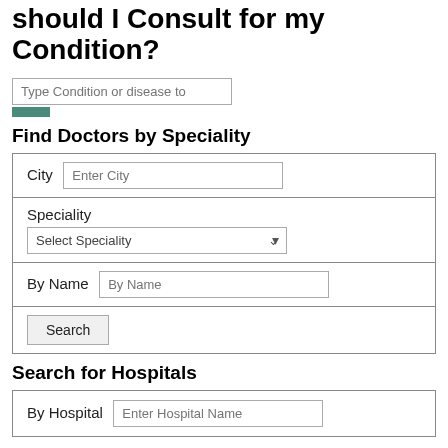should I Consult for my Condition?
[Figure (screenshot): Search input field with placeholder 'Type Condition or disease to']
Find Doctors by Speciality
| City | Enter City |
| Speciality | Select Speciality |
| By Name | By Name |
| Search |  |
Search for Hospitals
| By Hospital | Enter Hospital Name |